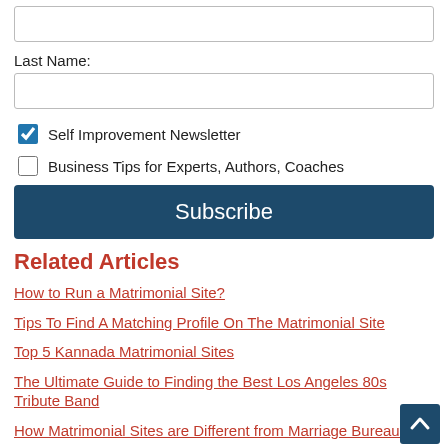Last Name:
Self Improvement Newsletter
Business Tips for Experts, Authors, Coaches
Subscribe
Related Articles
How to Run a Matrimonial Site?
Tips To Find A Matching Profile On The Matrimonial Site
Top 5 Kannada Matrimonial Sites
The Ultimate Guide to Finding the Best Los Angeles 80s Tribute Band
How Matrimonial Sites are Different from Marriage Bureaus?
How To Choose the Right Wedding Band?
How To Approach Profiles Found On Matrimonial Sites?